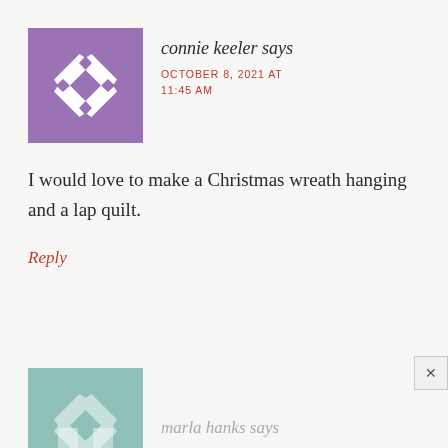[Figure (illustration): Purple quilting star/flower pattern avatar icon for user connie keeler]
connie keeler says
OCTOBER 8, 2021 AT 11:45 AM
I would love to make a Christmas wreath hanging and a lap quilt.
Reply
[Figure (illustration): Teal/muted green quilting pattern avatar icon for user marla hanks]
marla hanks says